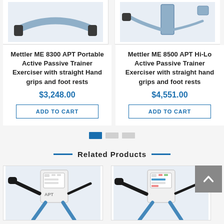[Figure (photo): Top portion of Mettler ME 8300 APT exercise equipment showing handlebars]
[Figure (photo): Top portion of Mettler ME 8500 APT Hi-Lo exercise equipment showing handlebars]
Mettler ME 8300 APT Portable Active Passive Trainer Exerciser with straight Hand grips and foot rests
$3,248.00
ADD TO CART
Mettler ME 8500 APT Hi-Lo Active Passive Trainer Exerciser with straight hand grips and foot rests
$4,551.00
ADD TO CART
Related Products
[Figure (photo): Mettler APT exercise trainer machine with control panel, bottom portion]
[Figure (photo): Mettler APT exercise trainer machine with control panel, bottom portion]